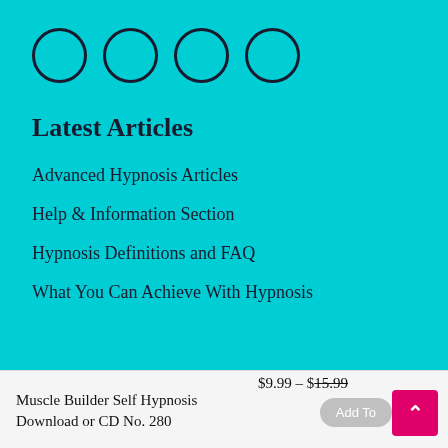[Figure (illustration): Four empty circles in a row on a teal background, likely representing social media or rating icons]
Latest Articles
Advanced Hypnosis Articles
Help & Information Section
Hypnosis Definitions and FAQ
What You Can Achieve With Hypnosis
Muscle Builder Self Hypnosis
Download or CD No. 280
$9.99 – $15.99
Add To